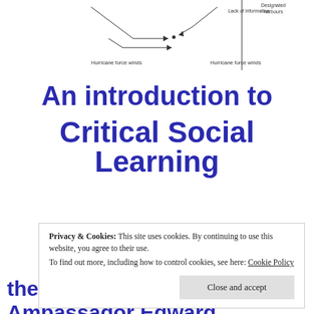[Figure (schematic): Partial diagram showing arrows and labels including 'Lack of information', 'Designated harbours', 'Hurricane force winds' (two instances) — top portion of a fishbone or causal diagram, cropped at top of page.]
An introduction to Critical Social Learning
Privacy & Cookies: This site uses cookies. By continuing to use this website, you agree to their use.
To find out more, including how to control cookies, see here: Cookie Policy
Close and accept
the Prime Minister, Ambassador Edward